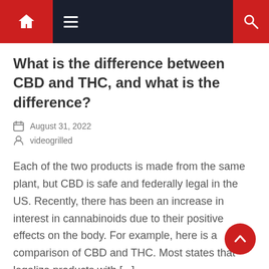Navigation bar with home, menu, and search icons
What is the difference between CBD and THC, and what is the difference?
August 31, 2022
videogrilled
Each of the two products is made from the same plant, but CBD is safe and federally legal in the US. Recently, there has been an increase in interest in cannabinoids due to their positive effects on the body. For example, here is a comparison of CBD and THC. Most states that legalize products with [...]